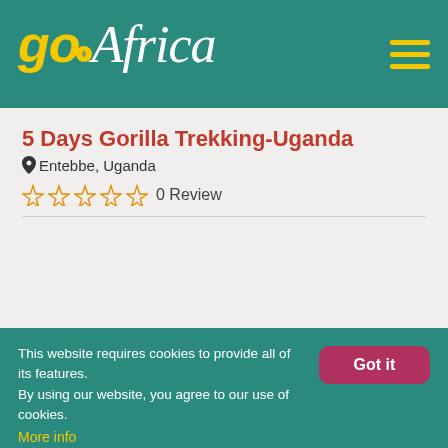[Figure (logo): goAfrica travel website logo with yellow 'go' text and white italic 'Africa' text on teal background, with hamburger menu icon]
5 Days Gorilla Trekking-Uganda
Entebbe, Uganda
0 Review
[Figure (photo): Close-up photo of a young mountain gorilla with dark fur among green tropical vegetation and vines, with share and heart/favorite action buttons overlaid]
This website requires cookies to provide all of its features. By using our website, you agree to our use of cookies. More info